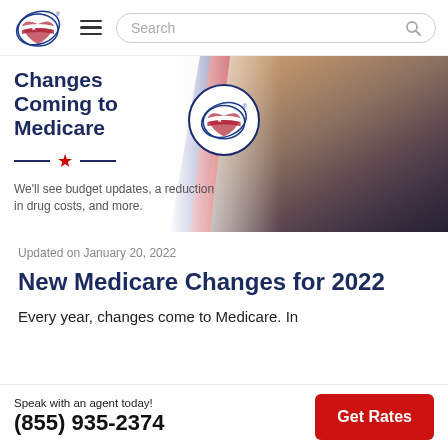[Figure (logo): Medicare insurance website logo with American flag heart and navigation bar including hamburger menu and search box]
[Figure (infographic): Banner image reading 'Changes Coming to Medicare' with subtitle 'We'll see budget updates, a reduction in drug costs, and more.' with decorative star, stripe, and photo of elderly couple]
Updated on January 20, 2022
New Medicare Changes for 2022
Every year, changes come to Medicare. In
Speak with an agent today!
(855) 935-2374
Get Rates